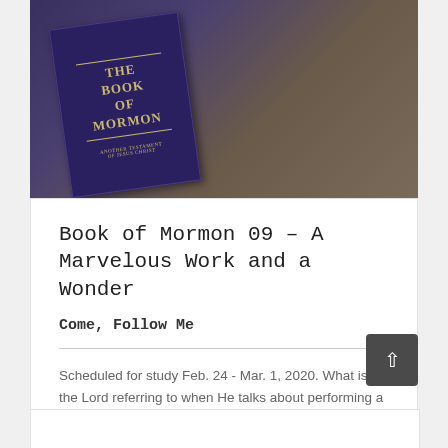[Figure (photo): A dark navy blue Book of Mormon book cover with gold lettering, placed on a dark brown/grey textured surface. The cover shows 'THE BOOK OF MORMON' and 'ANOTHER TESTAMENT OF JESUS CHRIST'.]
Book of Mormon 09 – A Marvelous Work and a Wonder
Come, Follow Me
Scheduled for study Feb. 24 - Mar. 1, 2020. What is the Lord referring to when He talks about performing a 'marvelous work and a wonder'? Let's look at what qualifies as God's marvels and wonders of the last days. [...]
Read More > 3